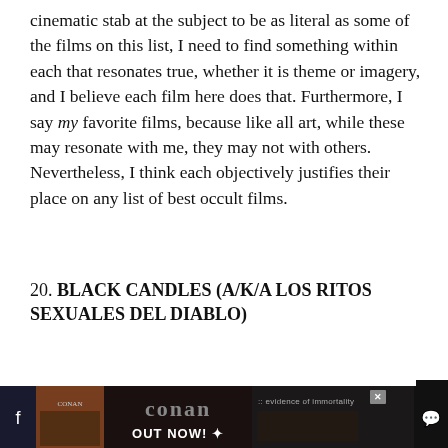cinematic stab at the subject to be as literal as some of the films on this list, I need to find something within each that resonates true, whether it is theme or imagery, and I believe each film here does that. Furthermore, I say my favorite films, because like all art, while these may resonate with me, they may not with others. Nevertheless, I think each objectively justifies their place on any list of best occult films.
20. BLACK CANDLES (A/K/A LOS RITOS SEXUALES DEL DIABLO)
[Figure (photo): Movie poster/promotional image with dark background showing text: SEX and the DEVIL ...A Wicked Combination]
I'll begin this list with a trilogy of sexploitation
[Figure (infographic): Advertisement banner at bottom: Conan album 'evidence of immortality' OUT NOW! with album artwork images. X close button visible.]